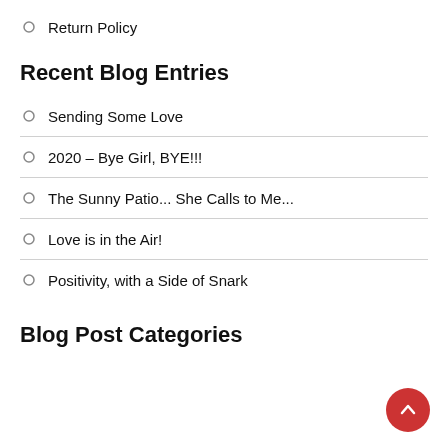Return Policy
Recent Blog Entries
Sending Some Love
2020 – Bye Girl, BYE!!!
The Sunny Patio... She Calls to Me...
Love is in the Air!
Positivity, with a Side of Snark
Blog Post Categories